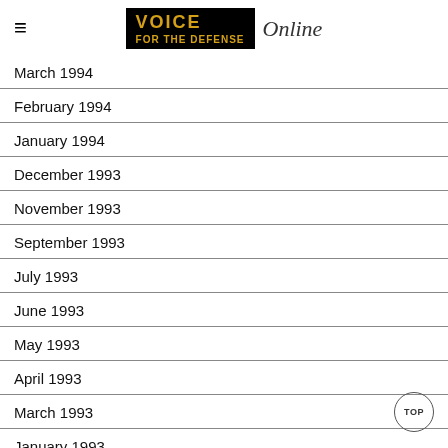VOICE Online
March 1994
February 1994
January 1994
December 1993
November 1993
September 1993
July 1993
June 1993
May 1993
April 1993
March 1993
January 1993